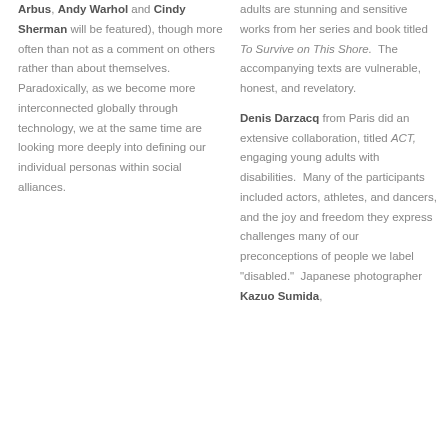Arbus, Andy Warhol and Cindy Sherman will be featured), though more often than not as a comment on others rather than about themselves.  Paradoxically, as we become more interconnected globally through technology, we at the same time are looking more deeply into defining our individual personas within social alliances.
adults are stunning and sensitive works from her series and book titled To Survive on This Shore.  The accompanying texts are vulnerable, honest, and revelatory.
Denis Darzacq from Paris did an extensive collaboration, titled ACT, engaging young adults with disabilities.  Many of the participants included actors, athletes, and dancers, and the joy and freedom they express challenges many of our preconceptions of people we label "disabled."  Japanese photographer Kazuo Sumida,